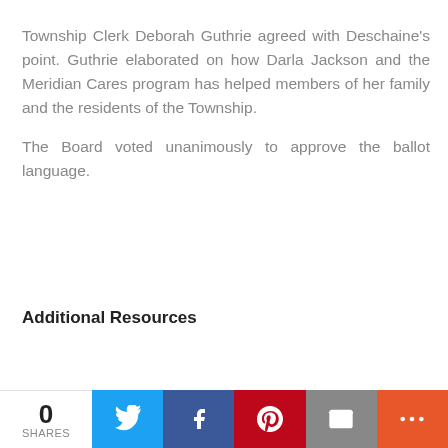Township Clerk Deborah Guthrie agreed with Deschaine's point. Guthrie elaborated on how Darla Jackson and the Meridian Cares program has helped members of her family and the residents of the Township.
The Board voted unanimously to approve the ballot language.
Additional Resources
0 SHARES | Twitter | Facebook | Pinterest | Email | More